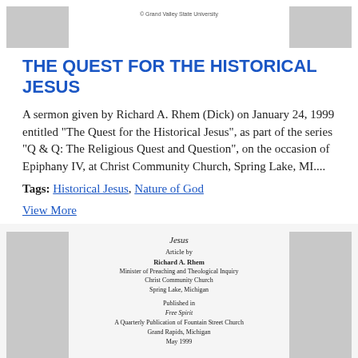© Grand Valley State University
THE QUEST FOR THE HISTORICAL JESUS
A sermon given by Richard A. Rhem (Dick) on January 24, 1999 entitled "The Quest for the Historical Jesus", as part of the series "Q & Q: The Religious Quest and Question", on the occasion of Epiphany IV, at Christ Community Church, Spring Lake, MI....
Tags: Historical Jesus, Nature of God
View More
[Figure (other): Scanned document page showing title 'Jesus', Article by Richard A. Rhem, Minister of Preaching and Theological Inquiry, Christ Community Church, Spring Lake, Michigan. Published in Free Spirit, A Quarterly Publication of Fountain Street Church, Grand Rapids, Michigan, May 1999.]